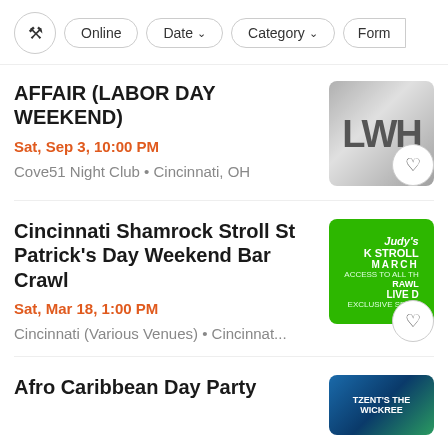Filter controls: Online, Date, Category, Form
AFFAIR (LABOR DAY WEEKEND)
Sat, Sep 3, 10:00 PM
Cove51 Night Club • Cincinnati, OH
[Figure (photo): Black and white photo with large letters LWH]
Cincinnati Shamrock Stroll St Patrick's Day Weekend Bar Crawl
Sat, Mar 18, 1:00 PM
Cincinnati (Various Venues) • Cincinnat...
[Figure (photo): Green promotional image for a bar crawl event in March]
Afro Caribbean Day Party